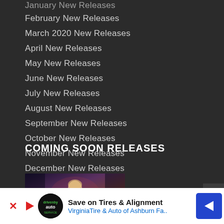January New Releases
February New Releases
March 2020 New Releases
April New Releases
May New Releases
June New Releases
July New Releases
August New Releases
September New Releases
October New Releases
November New Releases
December New Releases
COMING SOON RELEASES
[Figure (photo): Book cover for A Dark And Hollow Star showing a fantasy warrior character]
A Dark And Hollow Star
Save on Tires & Alignment
VirginiaTire & Auto of Ashburn Fa..